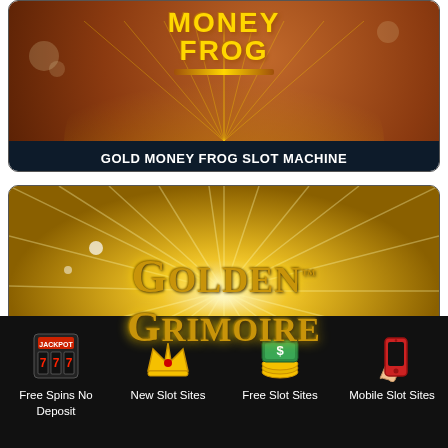[Figure (screenshot): Gold Money Frog slot machine promotional card with orange-brown background and gold text logo]
GOLD MONEY FROG SLOT MACHINE
[Figure (screenshot): Golden Grimoire slot machine promotional image with golden radial background and decorative gold 3D logo text]
Free Spins No Deposit
New Slot Sites
Free Slot Sites
Mobile Slot Sites